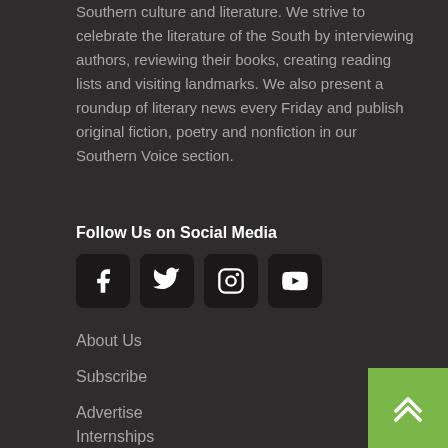Southern culture and literature. We strive to celebrate the literature of the South by interviewing authors, reviewing their books, creating reading lists and visiting landmarks. We also present a roundup of literary news every Friday and publish original fiction, poetry and nonfiction in our Southern Voice section.
Follow Us on Social Media
[Figure (other): Four social media icon buttons: Facebook, Twitter, Instagram, YouTube]
About Us
Subscribe
Advertise
Internships